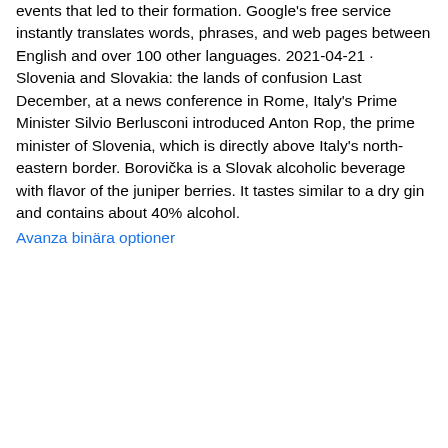events that led to their formation. Google's free service instantly translates words, phrases, and web pages between English and over 100 other languages. 2021-04-21 · Slovenia and Slovakia: the lands of confusion Last December, at a news conference in Rome, Italy's Prime Minister Silvio Berlusconi introduced Anton Rop, the prime minister of Slovenia, which is directly above Italy's north-eastern border. Borovička is a Slovak alcoholic beverage with flavor of the juniper berries. It tastes similar to a dry gin and contains about 40% alcohol.
Avanza binära optioner